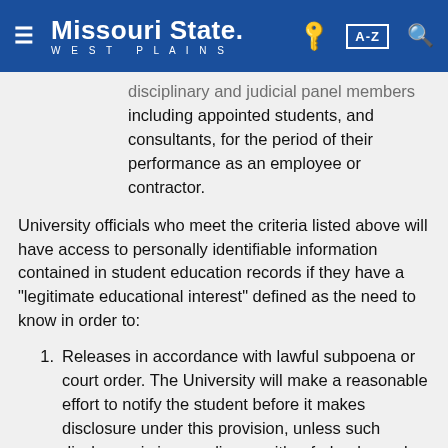Missouri State West Plains
disciplinary and judicial panel members including appointed students, and consultants, for the period of their performance as an employee or contractor.
University officials who meet the criteria listed above will have access to personally identifiable information contained in student education records if they have a "legitimate educational interest" defined as the need to know in order to:
Releases in accordance with lawful subpoena or court order. The University will make a reasonable effort to notify the student before it makes disclosure under this provision, unless such disclosure is in compliance with a federal grand jury subpoena or other subpoena issued for law enforcement purpose and the court or other